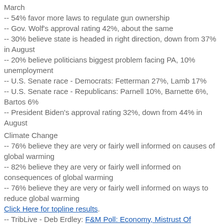March
-- 54% favor more laws to regulate gun ownership
-- Gov. Wolf's approval rating 42%, about the same
-- 30% believe state is headed in right direction, down from 37% in August
-- 20% believe politicians biggest problem facing PA, 10% unemployment
-- U.S. Senate race - Democrats: Fetterman 27%, Lamb 17%
-- U.S. Senate race - Republicans: Parnell 10%, Barnette 6%, Bartos 6%
-- President Biden's approval rating 32%, down from 44% in August
Climate Change
-- 76% believe they are very or fairly well informed on causes of global warming
-- 82% believe they are very or fairly well informed on consequences of global warming
-- 76% believe they are very or fairly well informed on ways to reduce global warming
Click Here for topline results.
-- TribLive - Deb Erdley: F&M Poll: Economy, Mistrust Of Government, COVID Continue To Drive Voters' Decisions
-- PennLive: Republicans On House Committee Vote To